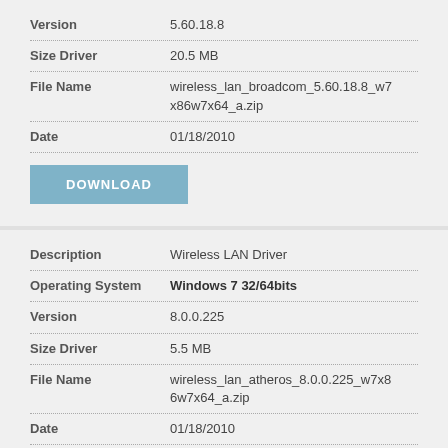| Field | Value |
| --- | --- |
| Version | 5.60.18.8 |
| Size Driver | 20.5 MB |
| File Name | wireless_lan_broadcom_5.60.18.8_w7x86w7x64_a.zip |
| Date | 01/18/2010 |
| Field | Value |
| --- | --- |
| Description | Wireless LAN Driver |
| Operating System | Windows 7 32/64bits |
| Version | 8.0.0.225 |
| Size Driver | 5.5 MB |
| File Name | wireless_lan_atheros_8.0.0.225_w7x86w7x64_a.zip |
| Date | 01/18/2010 |